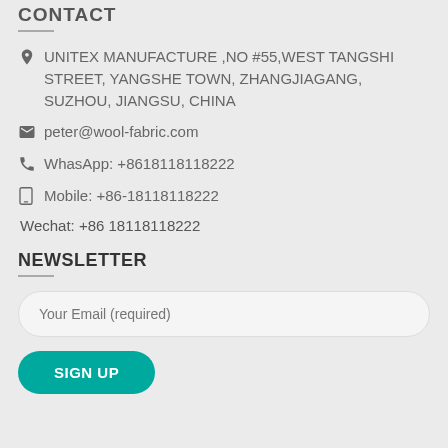CONTACT
UNITEX MANUFACTURE ,NO #55,WEST TANGSHI STREET, YANGSHE TOWN, ZHANGJIAGANG, SUZHOU, JIANGSU, CHINA
peter@wool-fabric.com
WhasApp: +8618118118222
Mobile: +86-18118118222
Wechat: +86 18118118222
NEWSLETTER
Your Email (required)
SIGN UP